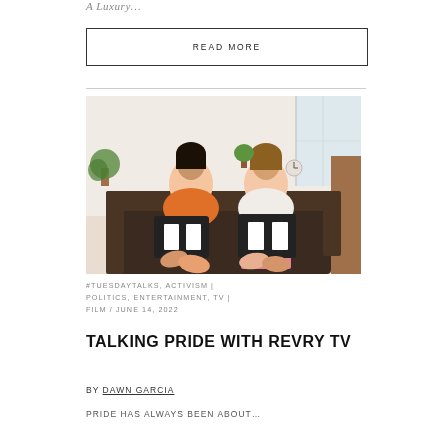A Luxury...
READ MORE
[Figure (photo): Two young women sitting on a black sofa, holding patterned pillows, laughing and reacting with surprised expressions. Indoor setting with plants and light walls in the background.]
#TUESDAYTALKS, ACTIVISM | POLITICS, ENTERTAINMENT, TV | FILM / JUNE 14, 2022
TALKING PRIDE WITH REVRY TV
BY DAWN GARCIA
PRIDE has always been about...